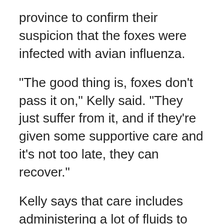province to confirm their suspicion that the foxes were infected with avian influenza.
"The good thing is, foxes don't pass it on," Kelly said. "They just suffer from it, and if they're given some supportive care and it's not too late, they can recover."
Kelly says that care includes administering a lot of fluids to the kits, and then nursing them back to health with a good diet and water.
However, it's not the same for the magpies, crows, ravens, owls or hawks brought in; they have to be put into the facility's quarantine area and assessed.
Kelly says there isn't much staff can do for the magpies other than after — they just have